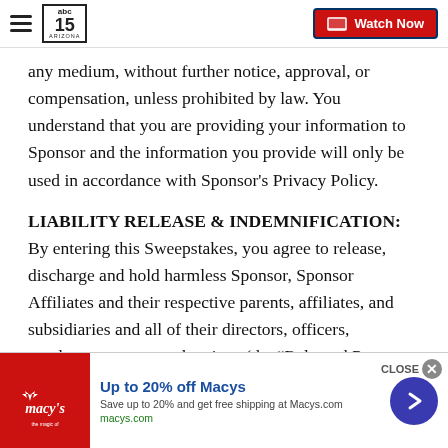abc15 ARIZONA | Watch Now
any medium, without further notice, approval, or compensation, unless prohibited by law. You understand that you are providing your information to Sponsor and the information you provide will only be used in accordance with Sponsor's Privacy Policy.
LIABILITY RELEASE & INDEMNIFICATION: By entering this Sweepstakes, you agree to release, discharge and hold harmless Sponsor, Sponsor Affiliates and their respective parents, affiliates, and subsidiaries and all of their directors, officers, employees, agents and assigns (the "Released Part...
[Figure (infographic): Macy's advertisement banner: Up to 20% off Macys. Save up to 20% and get free shipping at Macys.com. macys.com]